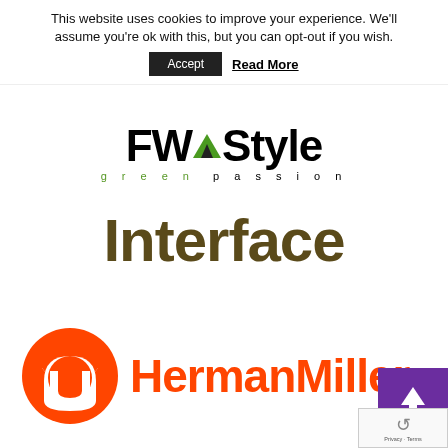This website uses cookies to improve your experience. We'll assume you're ok with this, but you can opt-out if you wish.
Accept   Read More
[Figure (logo): FWStyle logo with green triangle arrow and tagline 'green passion' in spaced lettering]
[Figure (logo): Interface brand logo in dark olive/brown bold sans-serif text]
[Figure (logo): Herman Miller logo: orange circle with white stylized M symbol, orange HermanMiller text]
[Figure (screenshot): Purple scroll-to-top button with white upward arrow, and reCAPTCHA badge with Privacy and Terms text]